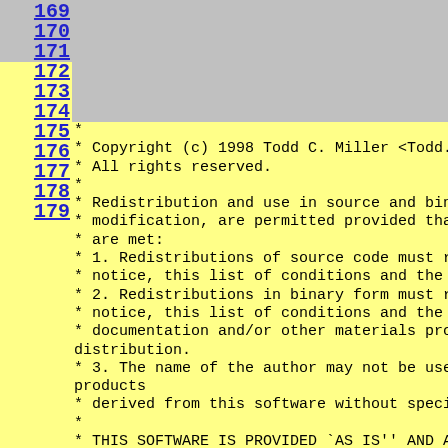169
170
171 (gray background, no code)
172 *
173 * Copyright (c) 1998 Todd C. Miller <Todd.Miller@courtesan.com>
174 * All rights reserved.
175 *
176 * Redistribution and use in source and binary forms, with or without
177 * modification, are permitted provided that the following conditions
178 * are met:
179 * 1. Redistributions of source code must retain the above copyright
     *    notice, this list of conditions and the following disclaimer.
     * 2. Redistributions in binary form must reproduce the above copyright
     *    notice, this list of conditions and the following disclaimer in the
     *    documentation and/or other materials provided with the distribution.
     * 3. The name of the author may not be used to endorse or promote products
     *    derived from this software without specific prior written permission
     *
     * THIS SOFTWARE IS PROVIDED `AS IS'' AND ANY EXPRESS OR